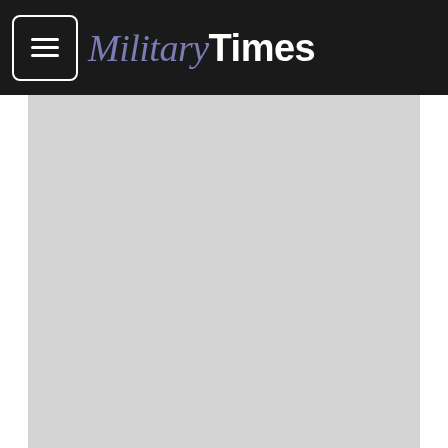MilitaryTimes
[Figure (photo): Gray placeholder image representing a photo of sailors participating in the Military Accessions Vital to National Interest program being issued the oath of citizenship.]
Sailors who participated in the Military Accessions Vital to National Interest program are issued the oath of citizenship. (Scott Thornbloom)
A federal judge Tuesday struck down a Defense Department requirement that service members serve